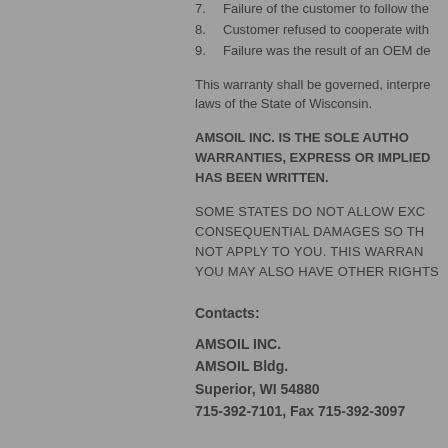7. Failure of the customer to follow the
8. Customer refused to cooperate with
9. Failure was the result of an OEM de
This warranty shall be governed, interpre laws of the State of Wisconsin.
AMSOIL INC. IS THE SOLE AUTHO WARRANTIES, EXPRESS OR IMPLIED HAS BEEN WRITTEN.
SOME STATES DO NOT ALLOW EXC CONSEQUENTIAL DAMAGES SO TH NOT APPLY TO YOU. THIS WARRAN YOU MAY ALSO HAVE OTHER RIGHTS
Contacts:
AMSOIL INC.
AMSOIL Bldg.
Superior, WI 54880
715-392-7101, Fax 715-392-3097